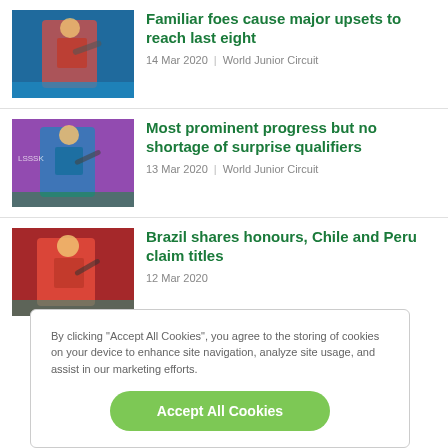[Figure (photo): Table tennis player in pink/black outfit swinging paddle]
Familiar foes cause major upsets to reach last eight
14 Mar 2020 | World Junior Circuit
[Figure (photo): Table tennis player in blue outfit at table]
Most prominent progress but no shortage of surprise qualifiers
13 Mar 2020 | World Junior Circuit
[Figure (photo): Table tennis player in red outfit at table]
Brazil shares honours, Chile and Peru claim titles
12 Mar 2020
By clicking "Accept All Cookies", you agree to the storing of cookies on your device to enhance site navigation, analyze site usage, and assist in our marketing efforts.
Accept All Cookies